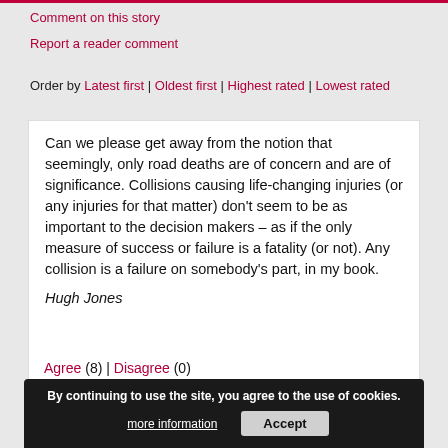Comment on this story
Report a reader comment
Order by Latest first | Oldest first | Highest rated | Lowest rated
Can we please get away from the notion that seemingly, only road deaths are of concern and are of significance. Collisions causing life-changing injuries (or any injuries for that matter) don't seem to be as important to the decision makers – as if the only measure of success or failure is a fatality (or not). Any collision is a failure on somebody's part, in my book.
Hugh Jones
Agree (8) | Disagree (0)
+8
By continuing to use the site, you agree to the use of cookies. more information Accept